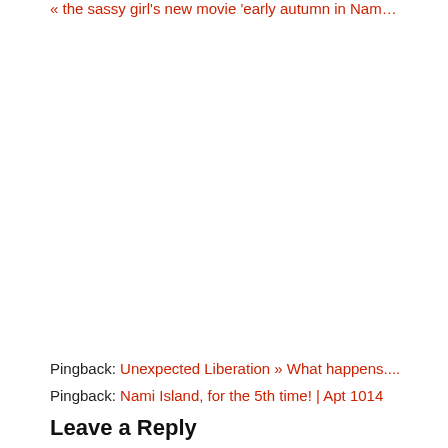« the sassy girl's new movie 'early autumn in Namiseom' »
Pingback: Unexpected Liberation » What happens....
Pingback: Nami Island, for the 5th time! | Apt 1014
Leave a Reply